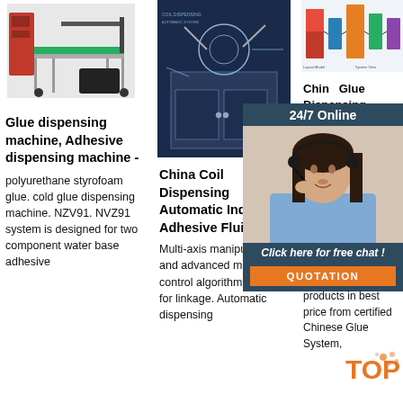[Figure (photo): Glue dispensing machine on table with red cabinet and green conveyor]
Glue dispensing machine, Adhesive dispensing machine -
polyurethane styrofoam glue. cold glue dispensing machine. NZV91. NVZ91 system is designed for two component water base adhesive
[Figure (photo): Blue-background industrial coil dispensing machine schematic/photo]
China Coil Dispensing Automatic Industrial Adhesive Fluid ...
Multi-axis manipulators and advanced motion control algorithms are used for linkage. Automatic dispensing
[Figure (photo): Industrial factory/machine layout diagram in blue and orange]
China Glue Dispensing Machine, Dispensing Machine, Dispenser Machine
China Glue Dispensing Machine manufacturers - Select quality Glue Dispensing Machine products in best price from certified Chinese Glue System,
[Figure (photo): 24/7 Online chat agent - woman with headset smiling, with click here for free chat and QUOTATION button overlay]